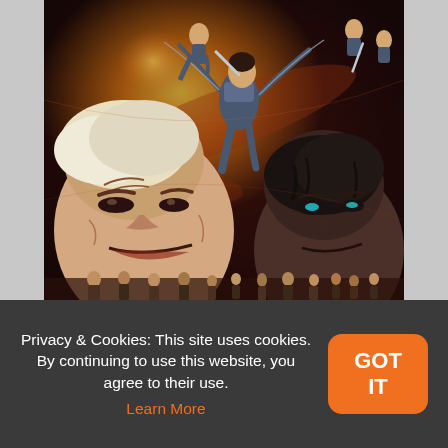[Figure (illustration): Anime illustration depicting titans and armored characters in an intense battle scene with dramatic orange and dark tones, referencing Attack on Titan artwork.]
Privacy & Cookies: This site uses cookies. By continuing to use this website, you agree to their use. Learn More
GOT IT